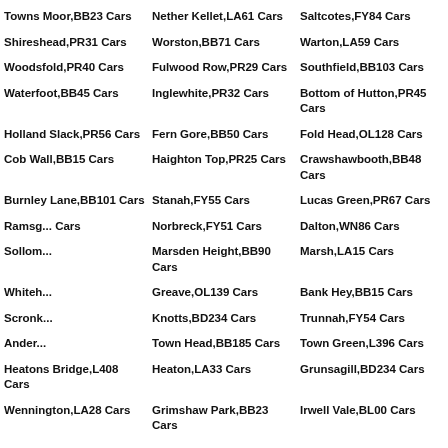Towns Moor,BB23 Cars
Nether Kellet,LA61 Cars
Saltcotes,FY84 Cars
Shireshead,PR31 Cars
Worston,BB71 Cars
Warton,LA59 Cars
Woodsfold,PR40 Cars
Fulwood Row,PR29 Cars
Southfield,BB103 Cars
Waterfoot,BB45 Cars
Inglewhite,PR32 Cars
Bottom of Hutton,PR45 Cars
Holland Slack,PR56 Cars
Fern Gore,BB50 Cars
Fold Head,OL128 Cars
Cob Wall,BB15 Cars
Haighton Top,PR25 Cars
Crawshawbooth,BB48 Cars
Burnley Lane,BB101 Cars
Stanah,FY55 Cars
Lucas Green,PR67 Cars
Ramsgr... Cars
Norbreck,FY51 Cars
Dalton,WN86 Cars
Sollom...
Marsden Height,BB90 Cars
Marsh,LA15 Cars
Whiteh...
Greave,OL139 Cars
Bank Hey,BB15 Cars
Scronk...
Knotts,BD234 Cars
Trunnah,FY54 Cars
Ander...
Town Head,BB185 Cars
Town Green,L396 Cars
Heatons Bridge,L408 Cars
Heaton,LA33 Cars
Grunsagill,BD234 Cars
Wennington,LA28 Cars
Grimshaw Park,BB23 Cars
Irwell Vale,BL00 Cars